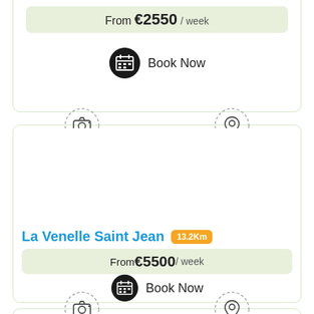From €2550 / week
Book Now
[Figure (other): Camera icon (dashed circle) for photos]
[Figure (other): Location pin icon (dashed circle) for map]
La Venelle Saint Jean 13.2Km
From €5500 / week
Book Now
[Figure (other): Camera icon (dashed circle) for photos]
[Figure (other): Location pin icon (dashed circle) for map]